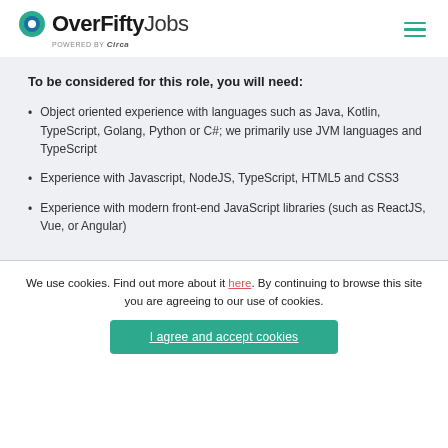OverFiftyJobs powered by Circa
To be considered for this role, you will need:
Object oriented experience with languages such as Java, Kotlin, TypeScript, Golang, Python or C#; we primarily use JVM languages and TypeScript
Experience with Javascript, NodeJS, TypeScript, HTML5 and CSS3
Experience with modern front-end JavaScript libraries (such as ReactJS, Vue, or Angular)
We use cookies. Find out more about it here. By continuing to browse this site you are agreeing to our use of cookies.
I agree and accept cookies